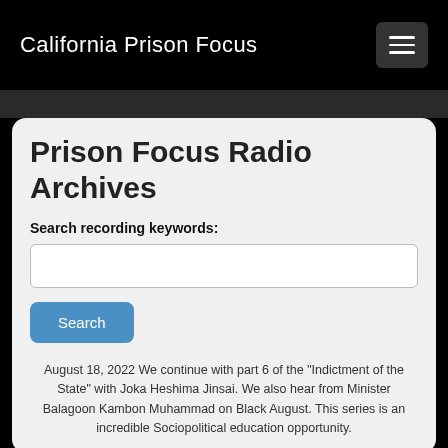California Prison Focus
Prison Focus Radio Archives
Search recording keywords:
August 18, 2022 We continue with part 6 of the "Indictment of the State" with Joka Heshima Jinsai. We also hear from Minister Balagoon Kambon Muhammad on Black August. This series is an incredible Sociopolitical education opportunity.